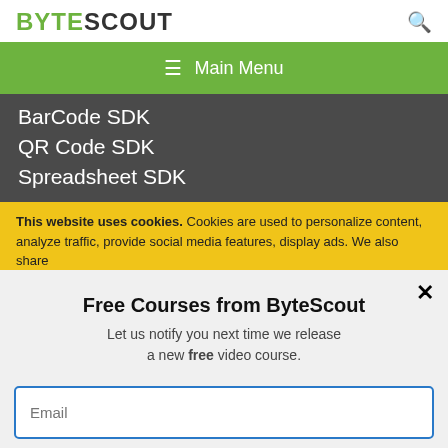BYTESCOUT
≡  Main Menu
BarCode SDK
QR Code SDK
Spreadsheet SDK
This website uses cookies. Cookies are used to personalize content, analyze traffic, provide social media features, display ads. We also share
Free Courses from ByteScout
Let us notify you next time we release a new free video course.
Email
SUBSCRIBE